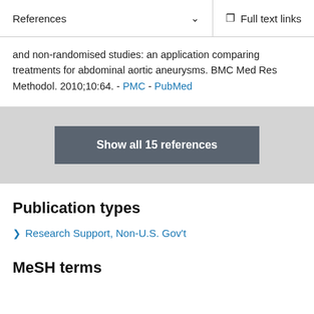References   ∨   Full text links
and non-randomised studies: an application comparing treatments for abdominal aortic aneurysms. BMC Med Res Methodol. 2010;10:64. - PMC - PubMed
Show all 15 references
Publication types
> Research Support, Non-U.S. Gov't
MeSH terms